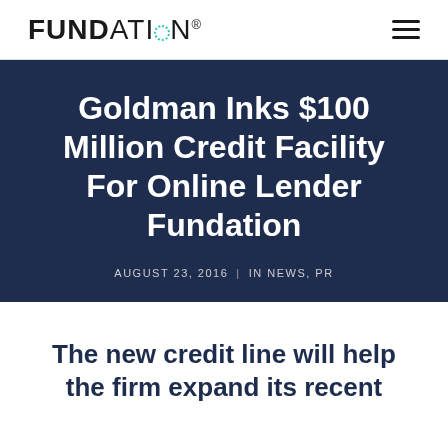FUNDATION®
Goldman Inks $100 Million Credit Facility For Online Lender Fundation
AUGUST 23, 2016  |  IN NEWS, PR
The new credit line will help the firm expand its recent